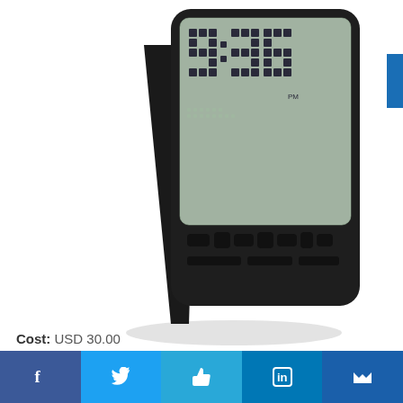[Figure (photo): Tetris Alarm Clock showing a digital display with tetris-style block digits showing 9:36 PM, black plastic body with buttons along the bottom, angled view on white background]
Cost: USD 30.00
Can you think of a better way to wake up every morning?
This Tetris Alarm Clock will also form each minute from water falling Tetriminos. This way you can start your day with good old memories.
f  [Twitter]  [Like]  in  [Crown icon]